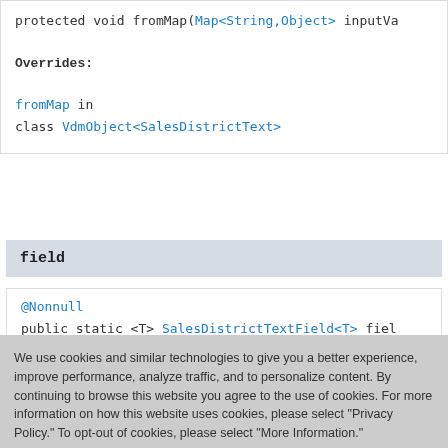protected void fromMap(Map<String,Object> inputVa
Overrides:
fromMap in class VdmObject<SalesDistrictText>
field
@Nonnull
public static <T> SalesDistrictTextField<T> field
We use cookies and similar technologies to give you a better experience, improve performance, analyze traffic, and to personalize content. By continuing to browse this website you agree to the use of cookies. For more information on how this website uses cookies, please select "Privacy Policy." To opt-out of cookies, please select "More Information."
Accept Cookies
More Information
Privacy Policy | Powered by: TrustArc
fieldName - The name of the extension field